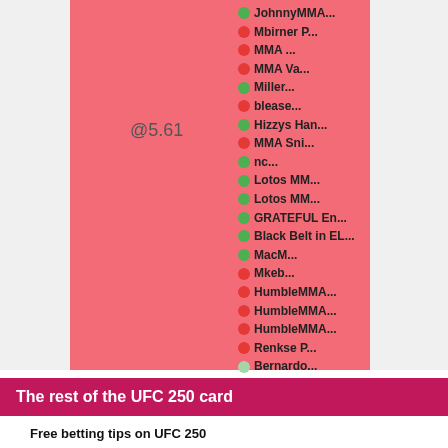[Figure (bar-chart): Partial bar chart showing a large salmon/pink bar labeled @5.61, with a legend of handicapper names shown with green or red dots indicating their picks.]
The rest of the UFC 250 card
Free betting tips on UFC 250
Event statistics for UFC 350